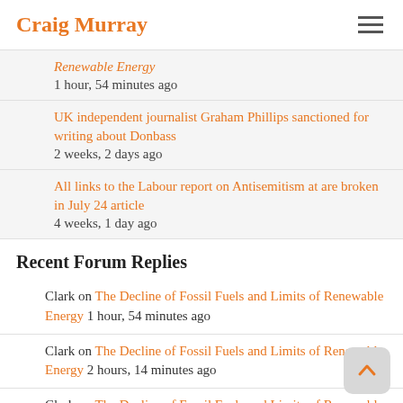Craig Murray
Renewable Energy
1 hour, 54 minutes ago
UK independent journalist Graham Phillips sanctioned for writing about Donbass
2 weeks, 2 days ago
All links to the Labour report on Antisemitism at are broken in July 24 article
4 weeks, 1 day ago
Recent Forum Replies
Clark on The Decline of Fossil Fuels and Limits of Renewable Energy 1 hour, 54 minutes ago
Clark on The Decline of Fossil Fuels and Limits of Renewable Energy 2 hours, 14 minutes ago
Clark on The Decline of Fossil Fuels and Limits of Renewable Energy 6 hours, 2 minutes ago